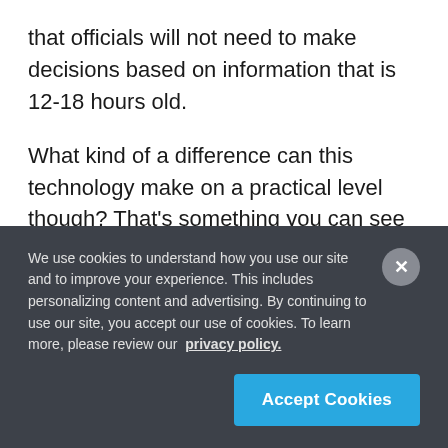that officials will not need to make decisions based on information that is 12-18 hours old.
What kind of a difference can this technology make on a practical level though? That's something you can see and hear for yourself.
https://youtu.be/9C5YJZTeMuU
When firefighters are making decisions based on
We use cookies to understand how you use our site and to improve your experience. This includes personalizing content and advertising. By continuing to use our site, you accept our use of cookies. To learn more, please review our privacy policy.